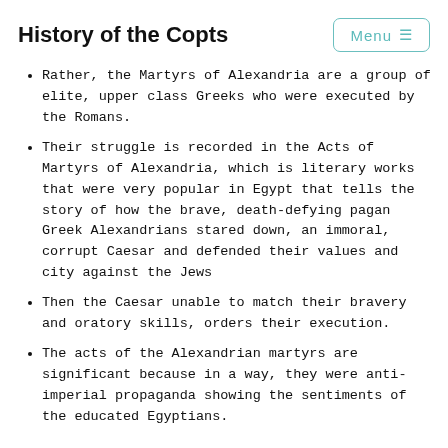History of the Copts
Rather, the Martyrs of Alexandria are a group of elite, upper class Greeks who were executed by the Romans.
Their struggle is recorded in the Acts of Martyrs of Alexandria, which is literary works that were very popular in Egypt that tells the story of how the brave, death-defying pagan Greek Alexandrians stared down, an immoral, corrupt Caesar and defended their values and city against the Jews
Then the Caesar unable to match their bravery and oratory skills, orders their execution.
The acts of the Alexandrian martyrs are significant because in a way, they were anti-imperial propaganda showing the sentiments of the educated Egyptians.